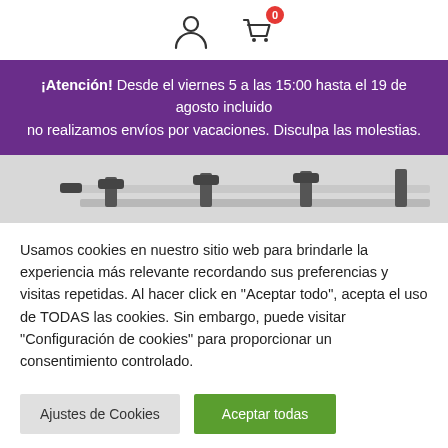[Figure (other): Header icons: person/account icon and shopping cart icon with red badge showing 0]
¡Atención! Desde el viernes 5 a las 15:00 hasta el 19 de agosto incluido no realizamos envíos por vacaciones. Disculpa las molestias.
[Figure (photo): Partial product image showing what appears to be a roof rack or luggage rack on a car roof]
Usamos cookies en nuestro sitio web para brindarle la experiencia más relevante recordando sus preferencias y visitas repetidas. Al hacer click en "Aceptar todo", acepta el uso de TODAS las cookies. Sin embargo, puede visitar "Configuración de cookies" para proporcionar un consentimiento controlado.
Ajustes de Cookies | Aceptar todas